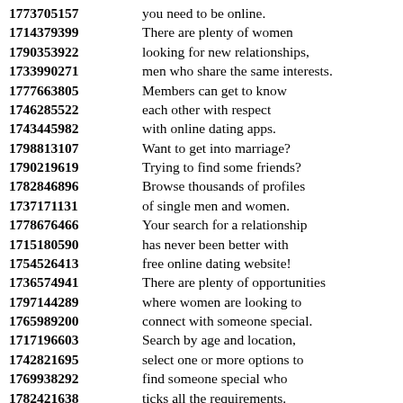1773705157 you need to be online.
1714379399 There are plenty of women
1790353922 looking for new relationships,
1733990271 men who share the same interests.
1777663805 Members can get to know
1746285522 each other with respect
1743445982 with online dating apps.
1798813107 Want to get into marriage?
1790219619 Trying to find some friends?
1782846896 Browse thousands of profiles
1737171131 of single men and women.
1778676466 Your search for a relationship
1715180590 has never been better with
1754526413 free online dating website!
1736574941 There are plenty of opportunities
1797144289 where women are looking to
1765989200 connect with someone special.
1717196603 Search by age and location,
1742821695 select one or more options to
1769938292 find someone special who
1782421638 ticks all the requirements.
1789176922 Start meeting in person
1715898120 and ending up disappointed
1751187261 with the girls you meet.
1722931757 There is a matching system